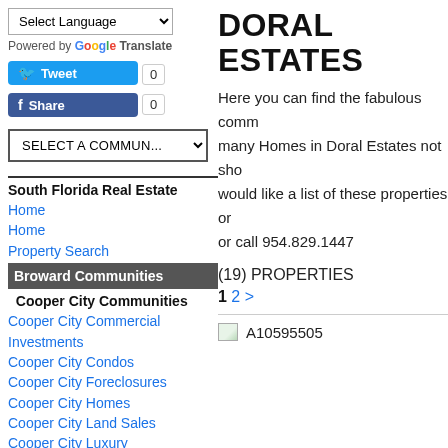Select Language (dropdown)
Powered by Google Translate
Tweet 0
Share 0
SELECT A COMMUNITY (dropdown)
South Florida Real Estate
Home
Home
Property Search
Broward Communities
Cooper City Communities
Cooper City Commercial Investments
Cooper City Condos
Cooper City Foreclosures
Cooper City Homes
Cooper City Land Sales
Cooper City Luxury
Cooper City Multifamily
Cooper City Pet Friendly Rentals
Cooper City Rentals
Coral Springs Communities
DORAL ESTATES
Here you can find the fabulous comm... many Homes in Doral Estates not sho... would like a list of these properties or... or call 954.829.1447
(19) PROPERTIES
1 2 >
[Figure (photo): Property image placeholder for listing A10595505]